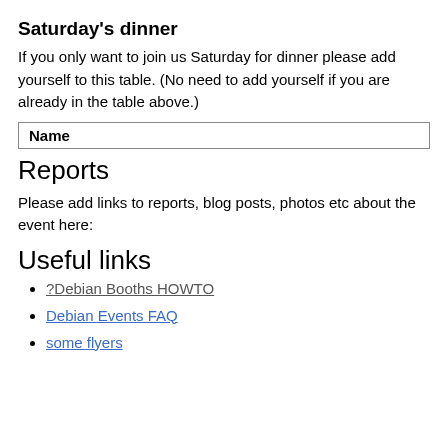Saturday's dinner
If you only want to join us Saturday for dinner please add yourself to this table. (No need to add yourself if you are already in the table above.)
| Name |
| --- |
Reports
Please add links to reports, blog posts, photos etc about the event here:
Useful links
?Debian Booths HOWTO
Debian Events FAQ
some flyers